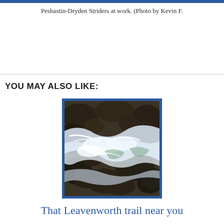Peshastin-Dryden Striders at work. (Photo by Kevin F.
YOU MAY ALSO LIKE:
[Figure (photo): A rocky river or stream with white rushing water flowing over and around large dark rocks, with a blue border frame.]
That Leavenworth trail near you